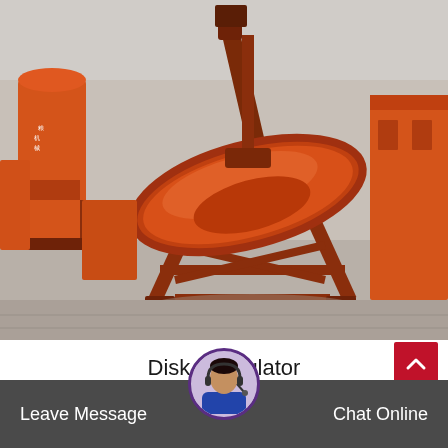[Figure (photo): Orange disk granulator machine on a concrete surface in an industrial yard, surrounded by other orange industrial equipment. The machine features a large tilted bowl/disc on a metal frame structure.]
Disk Granulator
Leave Message  Chat Online